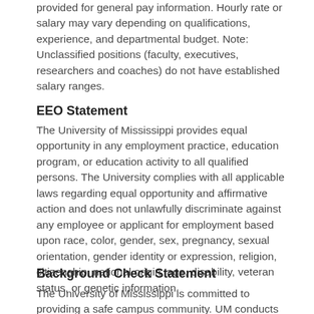provided for general pay information. Hourly rate or salary may vary depending on qualifications, experience, and departmental budget. Note: Unclassified positions (faculty, executives, researchers and coaches) do not have established salary ranges.
EEO Statement
The University of Mississippi provides equal opportunity in any employment practice, education program, or education activity to all qualified persons. The University complies with all applicable laws regarding equal opportunity and affirmative action and does not unlawfully discriminate against any employee or applicant for employment based upon race, color, gender, sex, pregnancy, sexual orientation, gender identity or expression, religion, citizenship, national origin, age, disability, veteran status, or genetic information.
Background Check Statement
The University of Mississippi is committed to providing a safe campus community. UM conducts background investigations for applicants being considered for